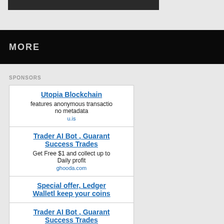[Figure (other): Dark header image bar at top of page]
MORE
SPONSORS
Utopia Blockchain
features anonymous transactio no metadata
u.is
Trader AI Bot , Guarant Success Trades
Get Free $1 and collect up to Daily profit
ghooda.com
Special offer, Ledger Walletl keep your coins
Trader AI Bot , Guarant Success Trades
Get Free $1 and collect up to Daily profit